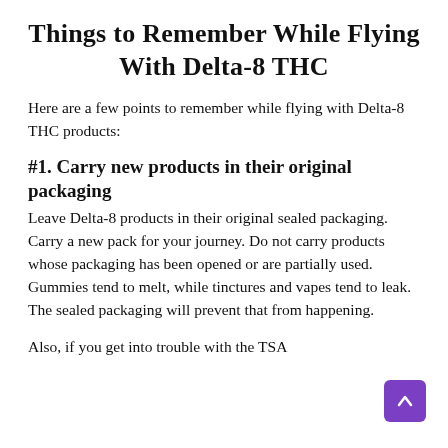Things to Remember While Flying With Delta-8 THC
Here are a few points to remember while flying with Delta-8 THC products:
#1. Carry new products in their original packaging
Leave Delta-8 products in their original sealed packaging. Carry a new pack for your journey. Do not carry products whose packaging has been opened or are partially used. Gummies tend to melt, while tinctures and vapes tend to leak. The sealed packaging will prevent that from happening.
Also, if you get into trouble with the TSA